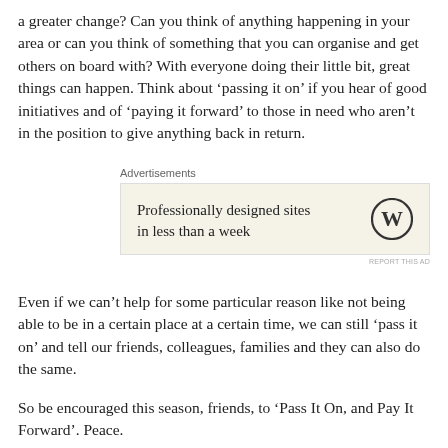a greater change? Can you think of anything happening in your area or can you think of something that you can organise and get others on board with? With everyone doing their little bit, great things can happen. Think about ‘passing it on’ if you hear of good initiatives and of ‘paying it forward’ to those in need who aren’t in the position to give anything back in return.
[Figure (other): WordPress advertisement box with text 'Professionally designed sites in less than a week' and WordPress logo. Labeled 'Advertisements' above.]
Even if we can’t help for some particular reason like not being able to be in a certain place at a certain time, we can still ‘pass it on’ and tell our friends, colleagues, families and they can also do the same.
So be encouraged this season, friends, to ‘Pass It On, and Pay It Forward’. Peace.